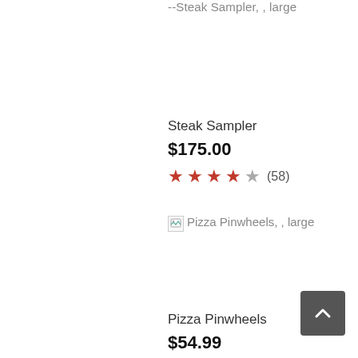--Steak Sampler, , large
Steak Sampler
$175.00
★★★★☆ (58)
[Figure (photo): Broken image placeholder for Pizza Pinwheels, , large]
Pizza Pinwheels
$54.99